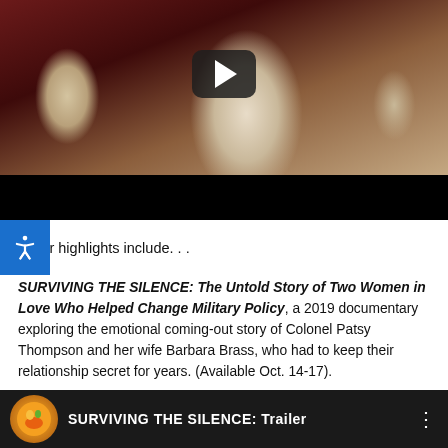[Figure (screenshot): Video thumbnail showing a woman with blonde hair in a white outfit with arms outstretched on a stage, with a play button overlay and black letterbox bar below]
[Figure (screenshot): Accessibility icon (person with arms out) on a blue background square]
Other highlights include. . .
SURVIVING THE SILENCE: The Untold Story of Two Women in Love Who Helped Change Military Policy, a 2019 documentary exploring the emotional coming-out story of Colonel Patsy Thompson and her wife Barbara Brass, who had to keep their relationship secret for years. (Available Oct. 14-17).
[Figure (screenshot): Bottom video thumbnail bar with logo circle and text SURVIVING THE SILENCE: Trailer on dark background]